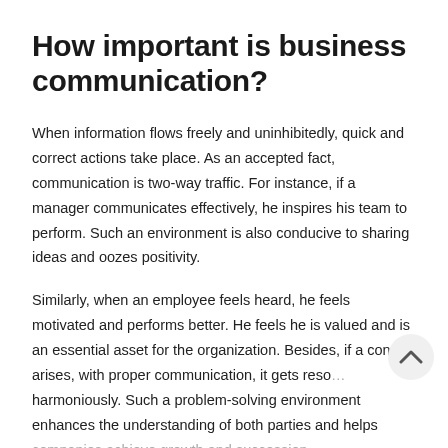How important is business communication?
When information flows freely and uninhibitedly, quick and correct actions take place. As an accepted fact, communication is two-way traffic. For instance, if a manager communicates effectively, he inspires his team to perform. Such an environment is also conducive to sharing ideas and oozes positivity.
Similarly, when an employee feels heard, he feels motivated and performs better. He feels he is valued and is an essential asset for the organization. Besides, if a conflict arises, with proper communication, it gets resolved harmoniously. Such a problem-solving environment enhances the understanding of both parties and helps companies achieve growth and succession.